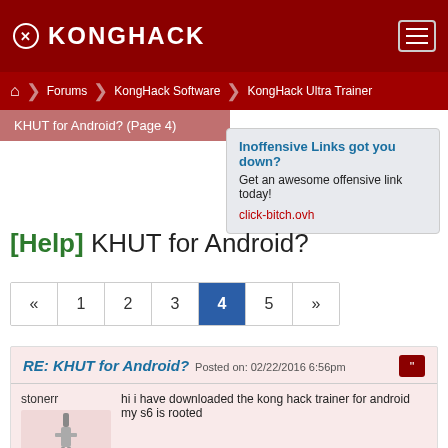KongHack
Forums | KongHack Software | KongHack Ultra Trainer
KHUT for Android? (Page 4)
[Figure (screenshot): Ad box: Inoffensive Links got you down? Get an awesome offensive link today! click-bitch.ovh]
[Help] KHUT for Android?
Pagination: « 1 2 3 4 5 »
RE: KHUT for Android? Posted on: 02/22/2016 6:56pm
stonerr
hi i have downloaded the kong hack trainer for android my s6 is rooted